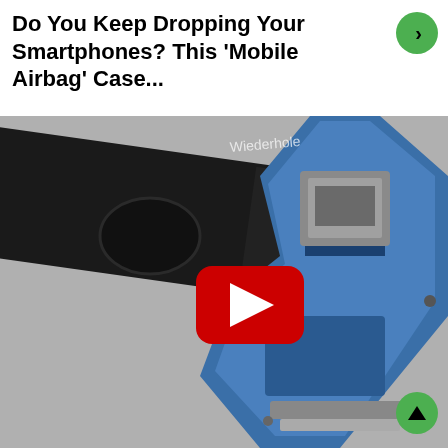Do You Keep Dropping Your Smartphones? This 'Mobile Airbag' Case...
[Figure (photo): Close-up photo of a mobile airbag phone case mechanism showing a blue plastic spring arm deployed, with metal spring components, and a smartphone visible in the background. A YouTube play button overlay is centered on the image.]